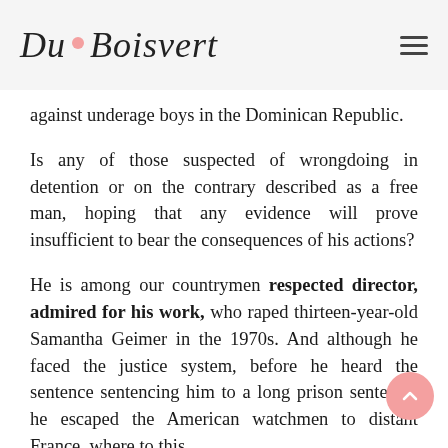Du Boisvert
against underage boys in the Dominican Republic.
Is any of those suspected of wrongdoing in detention or on the contrary described as a free man, hoping that any evidence will prove insufficient to bear the consequences of his actions?
He is among our countrymen respected director, admired for his work, who raped thirteen-year-old Samantha Geimer in the 1970s. And although he faced the justice system, before he heard the sentence sentencing him to a long prison sentence, he escaped the American watchmen to distant France, where to this